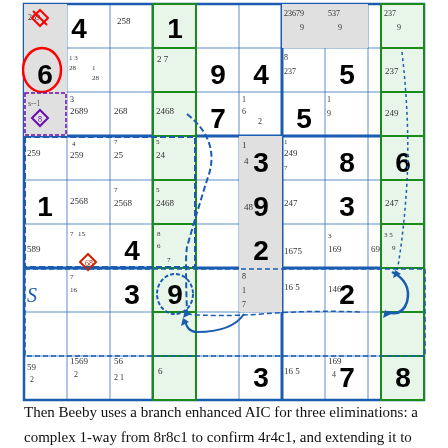[Figure (other): A Sudoku puzzle grid with candidate numbers, colored borders, circled digits, dashed lines indicating AIC chains, and various solving annotations.]
Then Beeby uses a branch enhanced AIC for three eliminations: a complex 1-way from 8r8c1 to confirm 4r4c1, and extending it to confirm 3r2c1, and having removed two c1 8's by 1-way